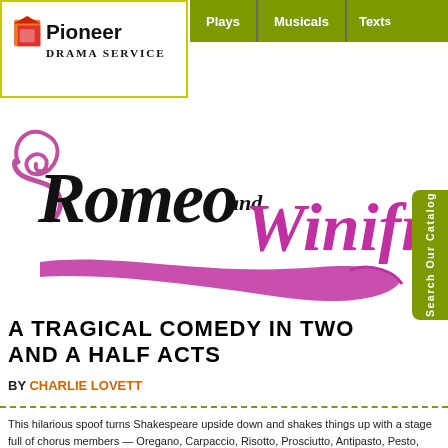[Figure (logo): Pioneer Drama Service logo with orange/red arrow icon and bold text]
Plays | Musicals | Texts
[Figure (illustration): Romeo and Winifred stylized title logo in pink/magenta and black decorative script with swirling flourishes]
[Figure (other): Search Our Catalog vertical tab on right side]
A TRAGICAL COMEDY IN TWO AND A HALF ACTS
BY CHARLIE LOVETT
This hilarious spoof turns Shakespeare upside down and shakes things up with a stage full of chorus members — Oregano, Carpaccio, Risotto, Prosciutto, Antipasto, Pesto, Mayo and Ro...